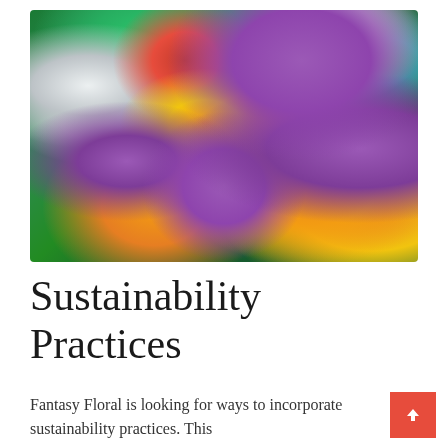[Figure (photo): Close-up photograph of a colorful mixed floral arrangement featuring purple allium/ageratum flowers, orange and yellow rudbeckia/sunflowers, pink berries, white blooms, and green foliage.]
Sustainability Practices
Fantasy Floral is looking for ways to incorporate sustainability practices. This